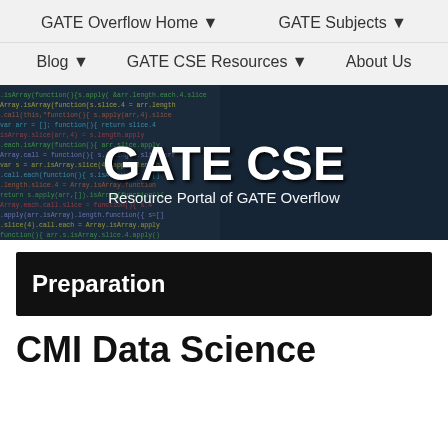GATE Overflow Home ▼    GATE Subjects ▼
Blog ▼    GATE CSE Resources ▼    About Us
[Figure (screenshot): Hero banner image showing colorful code text on a dark background with 'GATE CSE' in large white bold text and 'Resource Portal of GATE Overflow' as subtitle]
Preparation
CMI Data Science